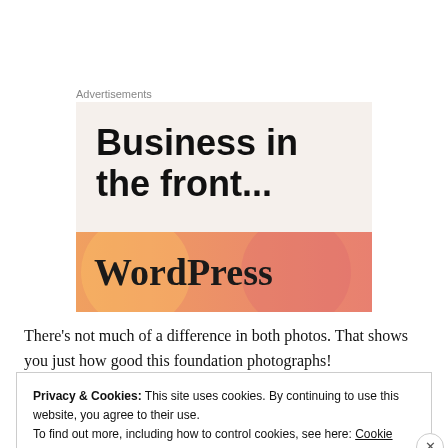Advertisements
[Figure (illustration): Advertisement box with text 'Business in the front...' on a beige background, and a WordPress logo on an orange-to-pink gradient banner at the bottom.]
There's not much of a difference in both photos. That shows you just how good this foundation photographs!
Privacy & Cookies: This site uses cookies. By continuing to use this website, you agree to their use.
To find out more, including how to control cookies, see here: Cookie Policy
Close and accept